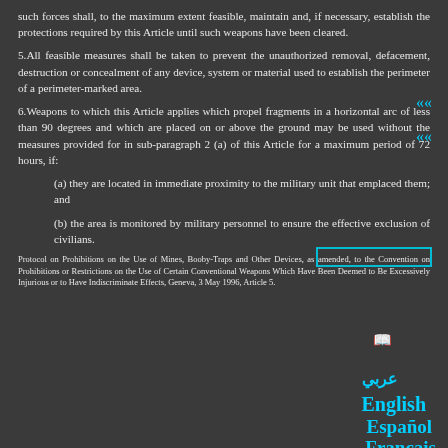such forces shall, to the maximum extent feasible, maintain and, if necessary, establish the protections required by this Article until such weapons have been cleared.
5.All feasible measures shall be taken to prevent the unauthorized removal, defacement, destruction or concealment of any device, system or material used to establish the perimeter of a perimeter-marked area.
6.Weapons to which this Article applies which propel fragments in a horizontal arc of less than 90 degrees and which are placed on or above the ground may be used without the measures provided for in sub-paragraph 2 (a) of this Article for a maximum period of 72 hours, if:
(a) they are located in immediate proximity to the military unit that emplaced them; and
(b) the area is monitored by military personnel to ensure the effective exclusion of civilians.
Protocol on Prohibitions on the Use of Mines, Booby-Traps and Other Devices, as amended, to the Convention on Prohibitions or Restrictions on the Use of Certain Conventional Weapons Which Have Been Deemed to Be Excessively Injurious or to Have Indiscriminate Effects, Geneva, 3 May 1996, Article 5.